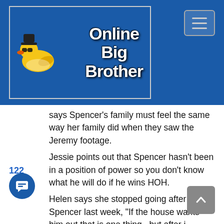[Figure (logo): Online Big Brother website logo with rubber duck wearing sunglasses and hat, blue background, white text saying 'Online Big Brother']
says Spencer's family must feel the same way her family did when they saw the Jeremy footage.
Jessie points out that Spencer hasn't been in a position of power so you don't know what he will do if he wins HOH.
Helen says she stopped going after Spencer last week, "If the house wants him out that is one thing.. but after i watched him get yelled out like that my heart broke for him".
Jessie understands.. Helen says at this points it's not Jessie vs Spencer it's what would be better for her game.
Jessie thinks that the people she has talked to in the house say it doesn't matter who goes home. She thinks that the vocal people will get the saw this week.
Helen says she going to go with the house on this vote..